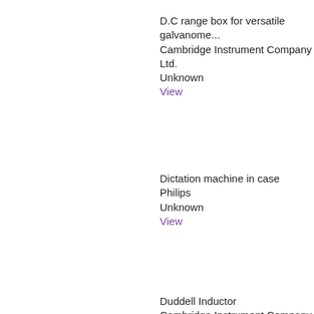D.C range box for versatile galvanome...
Cambridge Instrument Company Ltd.
Unknown
View
Dictation machine in case
Philips
Unknown
View
Duddell Inductor
Cambridge Instrument Company Ltd.